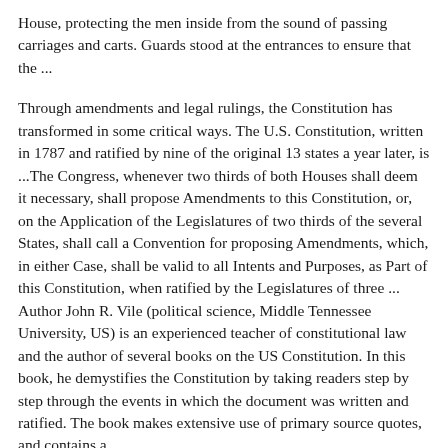House, protecting the men inside from the sound of passing carriages and carts. Guards stood at the entrances to ensure that the ...
Through amendments and legal rulings, the Constitution has transformed in some critical ways. The U.S. Constitution, written in 1787 and ratified by nine of the original 13 states a year later, is ...The Congress, whenever two thirds of both Houses shall deem it necessary, shall propose Amendments to this Constitution, or, on the Application of the Legislatures of two thirds of the several States, shall call a Convention for proposing Amendments, which, in either Case, shall be valid to all Intents and Purposes, as Part of this Constitution, when ratified by the Legislatures of three ... Author John R. Vile (political science, Middle Tennessee University, US) is an experienced teacher of constitutional law and the author of several books on the US Constitution. In this book, he demystifies the Constitution by taking readers step by step through the events in which the document was written and ratified. The book makes extensive use of primary source quotes, and contains a ...
Apr 21, 2016 · Find out more here. Drafted in secret by delegates to the Constitutional Convention during the summer of 1787, this four-page document, signed on September 17, 1787, established the government of the United States. The Federal Convention ...